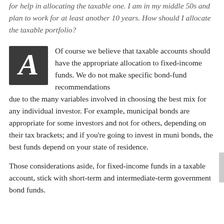for help in allocating the taxable one. I am in my middle 50s and plan to work for at least another 10 years. How should I allocate the taxable portfolio?
[Figure (illustration): Decorative letter A on dark chalkboard-style background, white serif italic font]
Of course we believe that taxable accounts should have the appropriate allocation to fixed-income funds. We do not make specific bond-fund recommendations due to the many variables involved in choosing the best mix for any individual investor. For example, municipal bonds are appropriate for some investors and not for others, depending on their tax brackets; and if you're going to invest in muni bonds, the best funds depend on your state of residence.
Those considerations aside, for fixed-income funds in a taxable account, stick with short-term and intermediate-term government bond funds.